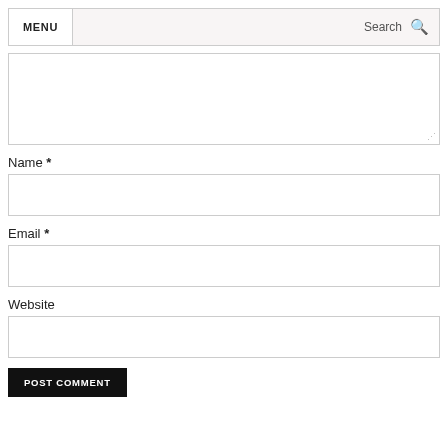MENU | Search
[Figure (screenshot): Comment textarea input box (partially visible, top cut off)]
Name *
[Figure (screenshot): Name input text field]
Email *
[Figure (screenshot): Email input text field]
Website
[Figure (screenshot): Website input text field]
POST COMMENT